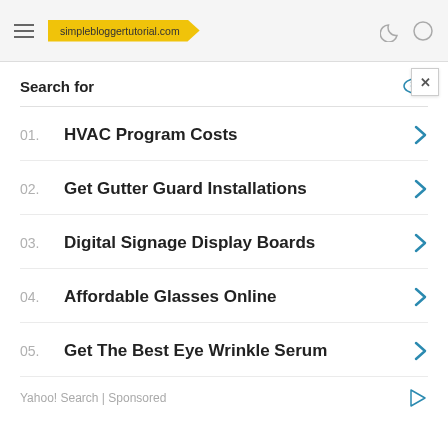simplebloggertutorial.com
Search for
01. HVAC Program Costs
02. Get Gutter Guard Installations
03. Digital Signage Display Boards
04. Affordable Glasses Online
05. Get The Best Eye Wrinkle Serum
Yahoo! Search | Sponsored